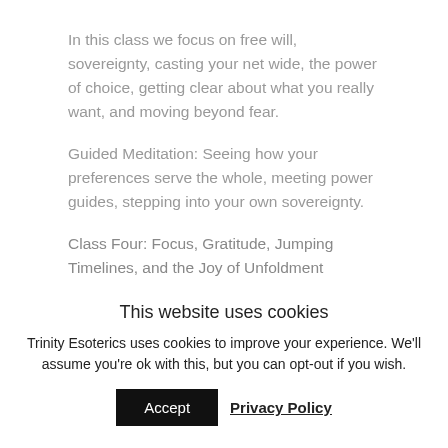In this class we focus on free will, sovereignty, casting your net wide, the power of choice, getting clear about what you really want, and moving beyond fear.
Guided Meditation: Seeing how your preferences serve the whole, meeting power guides, stepping into your own sovereignty.
Class Four: Focus, Gratitude, Jumping Timelines, and the Joy of Unfoldment
In this class we discuss how to...
This website uses cookies
Trinity Esoterics uses cookies to improve your experience. We'll assume you're ok with this, but you can opt-out if you wish.
Accept
Privacy Policy